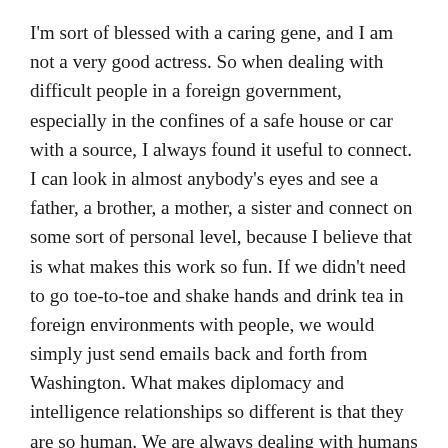I'm sort of blessed with a caring gene, and I am not a very good actress. So when dealing with difficult people in a foreign government, especially in the confines of a safe house or car with a source, I always found it useful to connect. I can look in almost anybody's eyes and see a father, a brother, a mother, a sister and connect on some sort of personal level, because I believe that is what makes this work so fun. If we didn't need to go toe-to-toe and shake hands and drink tea in foreign environments with people, we would simply just send emails back and forth from Washington. What makes diplomacy and intelligence relationships so different is that they are so human. We are always dealing with humans who are doing their best–or sometimes their worst–to fight for whatever their country is trying to get done. That's why I am so interested in getting to know people on a personal level because I want to know if they can share our worldview. And if not, I don't have much to work with. But I have met terrorists, weapons proliferators–I have met all